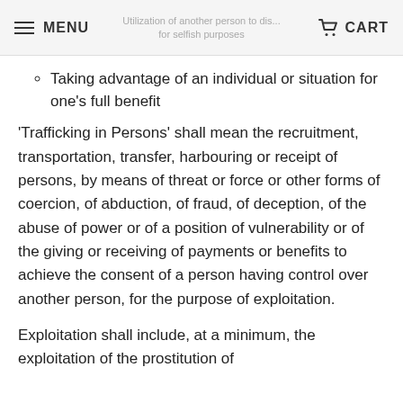MENU | Utilization of another person to dis... for selfish purposes | CART
Taking advantage of an individual or situation for one's full benefit
'Trafficking in Persons' shall mean the recruitment, transportation, transfer, harbouring or receipt of persons, by means of threat or force or other forms of coercion, of abduction, of fraud, of deception, of the abuse of power or of a position of vulnerability or of the giving or receiving of payments or benefits to achieve the consent of a person having control over another person, for the purpose of exploitation.
Exploitation shall include, at a minimum, the exploitation of the prostitution of